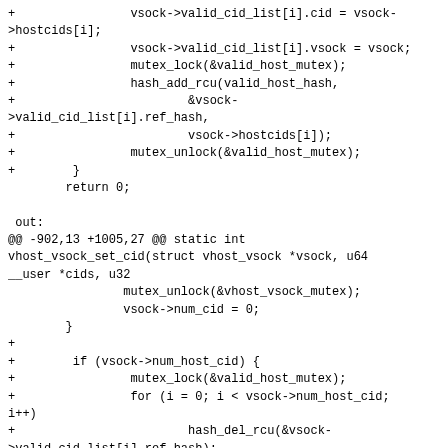+                vsock->valid_cid_list[i].cid = vsock->hostcids[i];
+                vsock->valid_cid_list[i].vsock = vsock;
+                mutex_lock(&valid_host_mutex);
+                hash_add_rcu(valid_host_hash,
+                        &vsock->valid_cid_list[i].ref_hash,
+                        vsock->hostcids[i]);
+                mutex_unlock(&valid_host_mutex);
+        }
        return 0;

 out:
@@ -902,13 +1005,27 @@ static int vhost_vsock_set_cid(struct vhost_vsock *vsock, u64 __user *cids, u32
                mutex_unlock(&vhost_vsock_mutex);
                vsock->num_cid = 0;
        }
+
+        if (vsock->num_host_cid) {
+                mutex_lock(&valid_host_mutex);
+                for (i = 0; i < vsock->num_host_cid; i++)
+                        hash_del_rcu(&vsock->valid_cid_list[i].ref_hash);
+                mutex_unlock(&valid_host_mutex);
+                vsock->num_host_cid = 0;
+        }
        if (vsock->ref_list)